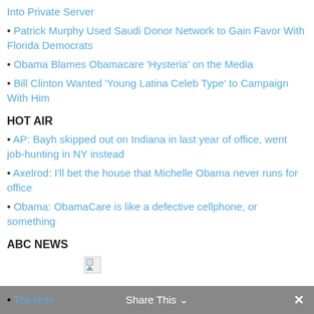Into Private Server
Patrick Murphy Used Saudi Donor Network to Gain Favor With Florida Democrats
Obama Blames Obamacare 'Hysteria' on the Media
Bill Clinton Wanted 'Young Latina Celeb Type' to Campaign With Him
HOT AIR
AP: Bayh skipped out on Indiana in last year of office, went job-hunting in NY instead
Axelrod: I'll bet the house that Michelle Obama never runs for office
Obama: ObamaCare is like a defective cellphone, or something
ABC NEWS
[Figure (other): Broken image placeholder]
Share This  ×  • The Note